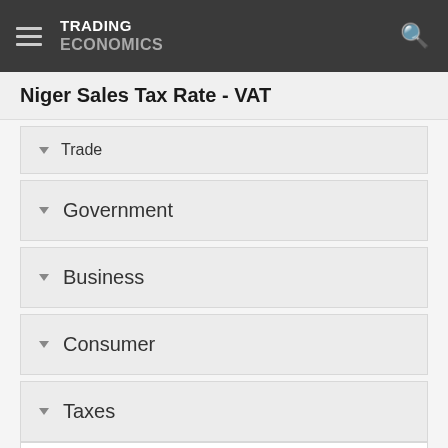TRADING ECONOMICS
Niger Sales Tax Rate - VAT
Trade
Government
Business
Consumer
Taxes
Sales Tax Rate
Health
Climate